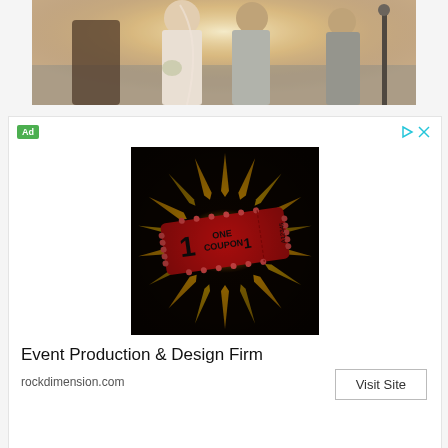[Figure (photo): Wedding photo showing a bride in a white dress holding flowers, a groom in a light suit, and an officiant in a floral shirt, standing outdoors with bright backlight near water.]
[Figure (illustration): Advertisement image showing a glowing red ticket/coupon with the number 1 and text 'ONE COUPON 1' on a fiery golden burst background.]
Event Production & Design Firm
rockdimension.com
Visit Site